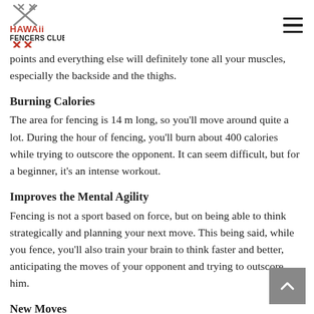HAWAII FENCERS CLUB
points and everything else will definitely tone all your muscles, especially the backside and the thighs.
Burning Calories
The area for fencing is 14 m long, so you'll move around quite a lot. During the hour of fencing, you'll burn about 400 calories while trying to outscore the opponent. It can seem difficult, but for a beginner, it's an intense workout.
Improves the Mental Agility
Fencing is not a sport based on force, but on being able to think strategically and planning your next move. This being said, while you fence, you'll also train your brain to think faster and better, anticipating the moves of your opponent and trying to outscore him.
New Moves